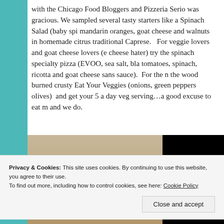with the Chicago Food Bloggers and Pizzeria Serio was gracious. We sampled several tasty starters like a Spinach Salad (baby spi... mandarin oranges, goat cheese and walnuts in homemade citrus ... traditional Caprese.   For veggie lovers and goat cheese lovers (e... cheese hater) try the spinach specialty pizza (EVOO, sea salt, bla... tomatoes, spinach, ricotta and goat cheese sans sauce).  For the n... the wood burned crusty Eat Your Veggies (onions, green peppers... olives)  and get your 5 a day veg serving…a good excuse to eat m... and we do.
[Figure (photo): Photo of Pizzeria Serio storefront showing a brick building with a black sign reading PIZZERIA SERIO in white letters]
Privacy & Cookies: This site uses cookies. By continuing to use this website, you agree to their use.
To find out more, including how to control cookies, see here: Cookie Policy
Close and accept